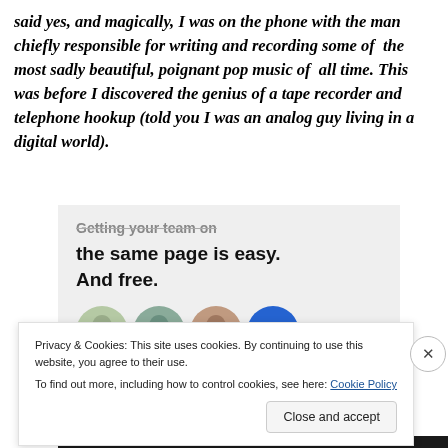said yes, and magically, I was on the phone with the man chiefly responsible for writing and recording some of the most sadly beautiful, poignant pop music of all time. This was before I discovered the genius of a tape recorder and telephone hookup (told you I was an analog guy living in a digital world).
[Figure (other): Advertisement banner with text 'Getting your team on the same page is easy. And free.' with four avatar circles below (three face photos and one blue circle with info icon), on a light grey background.]
Privacy & Cookies: This site uses cookies. By continuing to use this website, you agree to their use.
To find out more, including how to control cookies, see here: Cookie Policy
Close and accept